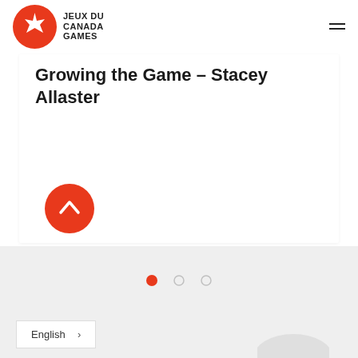[Figure (logo): Jeux du Canada Games logo - red circle with maple leaf and text JEUX DU CANADA GAMES]
Growing the Game – Stacey Allaster
[Figure (other): Red circle button with upward chevron arrow]
[Figure (other): Pagination indicator: three dots, first filled red, two hollow]
English >